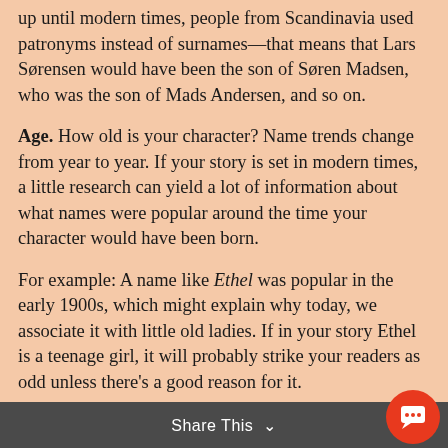up until modern times, people from Scandinavia used patronyms instead of surnames—that means that Lars Sørensen would have been the son of Søren Madsen, who was the son of Mads Andersen, and so on.
Age. How old is your character? Name trends change from year to year. If your story is set in modern times, a little research can yield a lot of information about what names were popular around the time your character would have been born.
For example: A name like Ethel was popular in the early 1900s, which might explain why today, we associate it with little old ladies. If in your story Ethel is a teenage girl, it will probably strike your readers as odd unless there's a good reason for it.
And hey—maybe there is. That's what a solid backstory is all about!
Share This